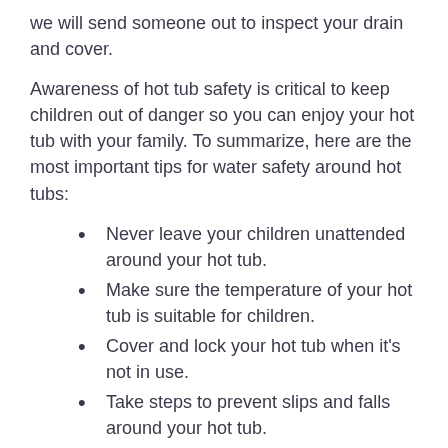we will send someone out to inspect your drain and cover.
Awareness of hot tub safety is critical to keep children out of danger so you can enjoy your hot tub with your family. To summarize, here are the most important tips for water safety around hot tubs:
Never leave your children unattended around your hot tub.
Make sure the temperature of your hot tub is suitable for children.
Cover and lock your hot tub when it's not in use.
Take steps to prevent slips and falls around your hot tub.
Make sure your drain is safe
At Aqua Spas and Pools, we are committed to providing you with hot tubs and pools that will provide a lifetime of enjoyment. Still wondering if hot tubs are safe for kids? Please give us a call — our service technicians would be